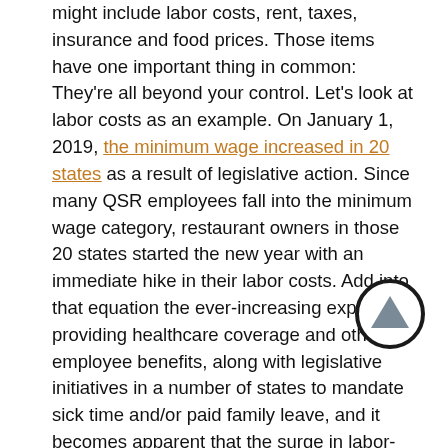might include labor costs, rent, taxes, insurance and food prices. Those items have one important thing in common: They're all beyond your control. Let's look at labor costs as an example. On January 1, 2019, the minimum wage increased in 20 states as a result of legislative action. Since many QSR employees fall into the minimum wage category, restaurant owners in those 20 states started the new year with an immediate hike in their labor costs. Add into that equation the ever-increasing expense of providing healthcare coverage and other employee benefits, along with legislative initiatives in a number of states to mandate sick time and/or paid family leave, and it becomes apparent that the surge in labor-related costs is putting a huge dent in the profit margins of small businesses.

It would seem like only way to avoid these higher labor costs is to decrease the number of employees; but that's going to have a negative impact on customer service: Fewer employees mean longer lines at the order window and increased wait times for food to be prepared and served. The logical answer to dealing with costs you can't control is to offset them by dealing with the costs you can control. And of all the cost areas involved in operating a restaurant, one is
[Figure (other): A circular scroll-to-top button with a dark border and an upward-pointing triangle/arrow icon inside]